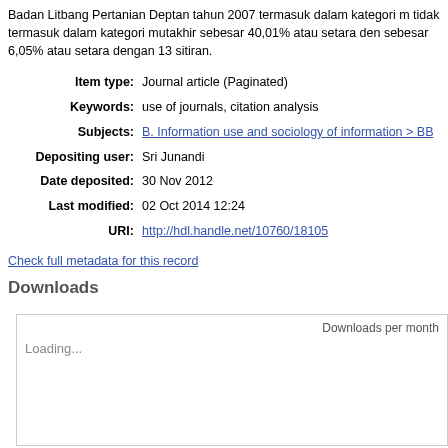Badan Litbang Pertanian Deptan tahun 2007 termasuk dalam kategori m tidak termasuk dalam kategori mutakhir sebesar 40,01% atau setara den sebesar 6,05% atau setara dengan 13 sitiran.
| Item type: | Journal article (Paginated) |
| Keywords: | use of journals, citation analysis |
| Subjects: | B. Information use and sociology of information > BB |
| Depositing user: | Sri Junandi |
| Date deposited: | 30 Nov 2012 |
| Last modified: | 02 Oct 2014 12:24 |
| URI: | http://hdl.handle.net/10760/18105 |
Check full metadata for this record
Downloads
[Figure (other): Downloads per month chart loading area with 'Loading...' placeholder text]